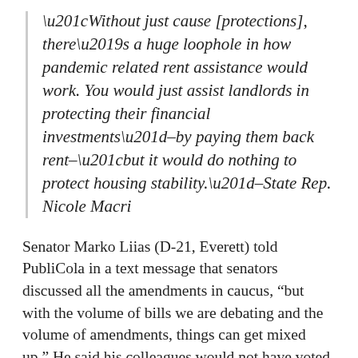“Without just cause [protections], there’s a huge loophole in how pandemic related rent assistance would work. You would just assist landlords in protecting their financial investments”–by paying them back rent–“but it would do nothing to protect housing stability.”–State Rep. Nicole Macri
Senator Marko Liias (D-21, Everett) told PubliCola in a text message that senators discussed all the amendments in caucus, “but with the volume of bills we are debating and the volume of amendments, things can get mixed up.” He said his colleagues would not have voted for the amendments they